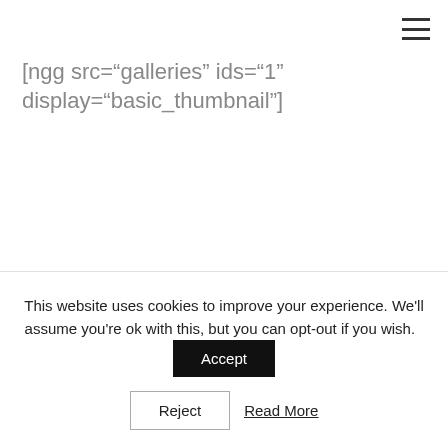[ngg src="galleries" ids="1" display="basic_thumbnail"]
This website uses cookies to improve your experience. We'll assume you're ok with this, but you can opt-out if you wish.
Accept
Reject
Read More